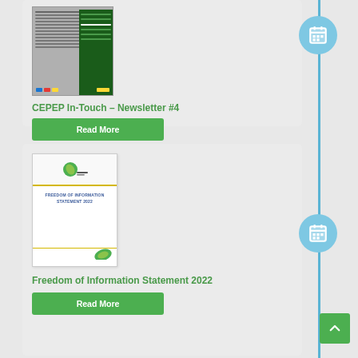[Figure (screenshot): Thumbnail of CEPEP In-Touch Newsletter #4 document cover]
CEPEP In-Touch – Newsletter #4
Read More
[Figure (screenshot): Thumbnail of Freedom of Information Statement 2022 document cover with CEPEP logo and green leaf]
Freedom of Information Statement 2022
Read More